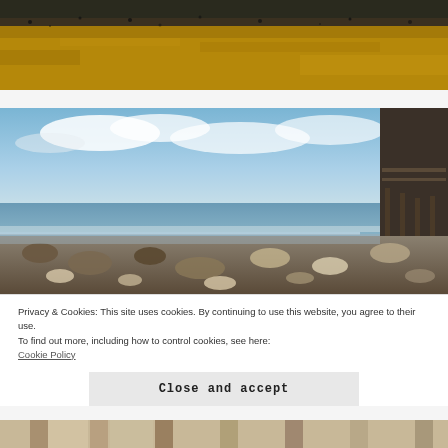[Figure (photo): Close-up of sandy beach surface with black and golden-yellow sand texture, cropped at top of page]
[Figure (photo): Beach scene with rocky/pebbly shoreline in foreground, ocean waves, blue sky with clouds, and a wooden pier on the right side]
Privacy & Cookies: This site uses cookies. By continuing to use this website, you agree to their use.
To find out more, including how to control cookies, see here:
Cookie Policy
Close and accept
[Figure (photo): Bottom strip showing wooden pier pilings, partially visible at bottom of page]